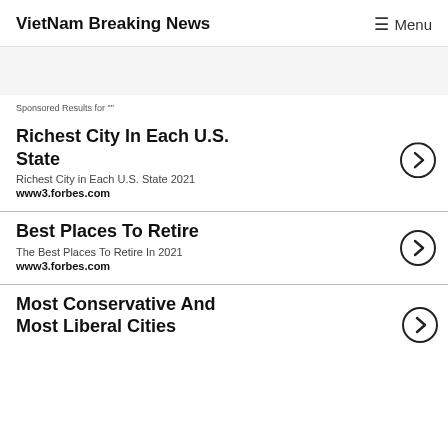VietNam Breaking News  Menu
Sponsored Results for ""
Richest City In Each U.S. State
Richest City in Each U.S. State 2021
www3.forbes.com
Best Places To Retire
The Best Places To Retire In 2021
www3.forbes.com
Most Conservative And Most Liberal Cities